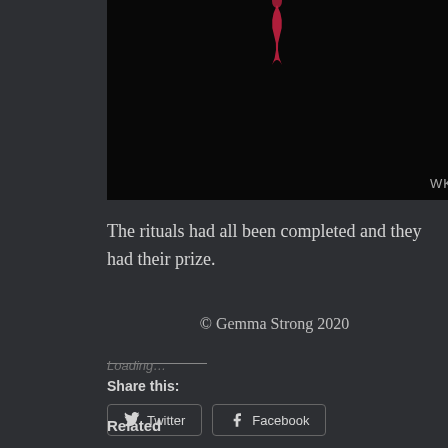[Figure (photo): Dark/black background image with a small red element (possibly a figure or symbol) at the top center, and watermark 'WK' in the lower right corner.]
The rituals had all been completed and they had their prize.
© Gemma Strong 2020
Share this:
Twitter
Facebook
Loading…
Related